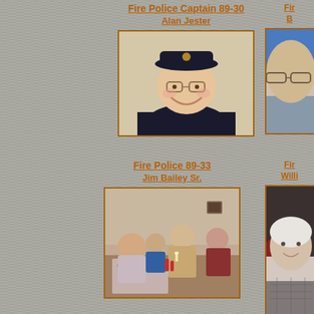Fire Police Captain 89-30
Alan Jester
[Figure (photo): Portrait photo of Alan Jester wearing a dark cap with a fire department insignia, smiling, in a dark uniform]
Fir... (partial, cut off)
B... (partial, cut off)
[Figure (photo): Partial portrait photo on right edge, person with glasses, blue background, cut off]
Fire Police 89-33
Jim Bailey Sr.
[Figure (photo): Group photo at an indoor event/dinner, people seated at tables, man in tan jacket shaking hands]
Fir... (partial, cut off)
Willi... (partial, cut off)
[Figure (photo): Partial portrait photo on right edge, elderly person, cut off at right side of page]